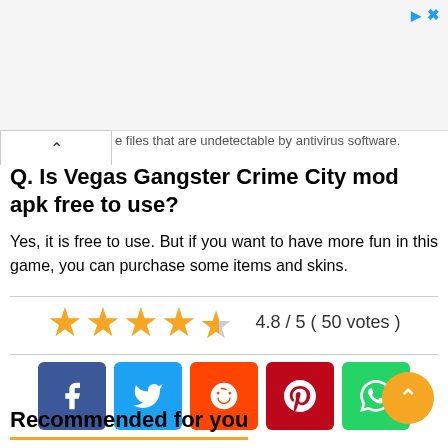e files that are undetectable by antivirus software.
Q. Is Vegas Gangster Crime City mod apk free to use?
Yes, it is free to use. But if you want to have more fun in this game, you can purchase some items and skins.
[Figure (infographic): Star rating: 4.8 / 5 (50 votes) with 4 full orange stars and 1 half star]
[Figure (infographic): Social share buttons: Facebook, Twitter, Reddit, Pinterest, WhatsApp]
Recommended for you